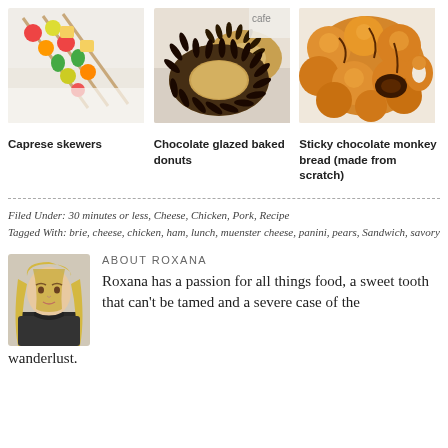[Figure (photo): Caprese skewers food photo – colorful vegetable and cheese skewers on a white plate]
[Figure (photo): Chocolate glazed baked donuts food photo – dark chocolate-covered donuts with spiky topping]
[Figure (photo): Sticky chocolate monkey bread food photo – golden pull-apart bread with chocolate filling]
Caprese skewers
Chocolate glazed baked donuts
Sticky chocolate monkey bread (made from scratch)
Filed Under: 30 minutes or less, Cheese, Chicken, Pork, Recipe
Tagged With: brie, cheese, chicken, ham, lunch, muenster cheese, panini, pears, Sandwich, savory
ABOUT ROXANA
[Figure (photo): Portrait photo of Roxana – woman with long blonde hair]
Roxana has a passion for all things food, a sweet tooth that can't be tamed and a severe case of the wanderlust.